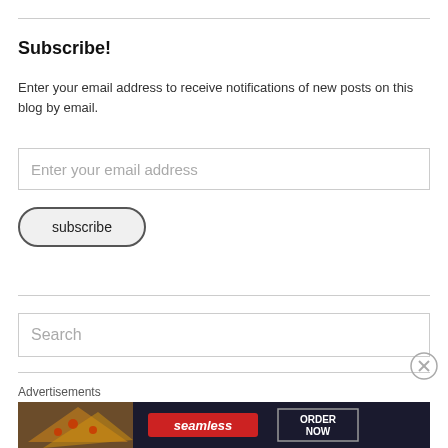Subscribe!
Enter your email address to receive notifications of new posts on this blog by email.
Enter your email address
subscribe
Search
Advertisements
[Figure (other): Seamless food delivery advertisement banner showing pizza image on dark background with Seamless logo and ORDER NOW button]